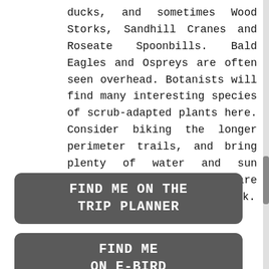ducks, and sometimes Wood Storks, Sandhill Cranes and Roseate Spoonbills. Bald Eagles and Ospreys are often seen overhead. Botanists will find many interesting species of scrub-adapted plants here. Consider biking the longer perimeter trails, and bring plenty of water and sun protection. Restrooms are available at Friendship Park.
[Figure (other): Button with rounded rectangle, dark gray background, white text reading 'FIND ME ON THE TRIP PLANNER']
[Figure (other): Button with rounded rectangle, dark gray background, white text reading 'FIND ME ON E-BIRD' (partially visible)]